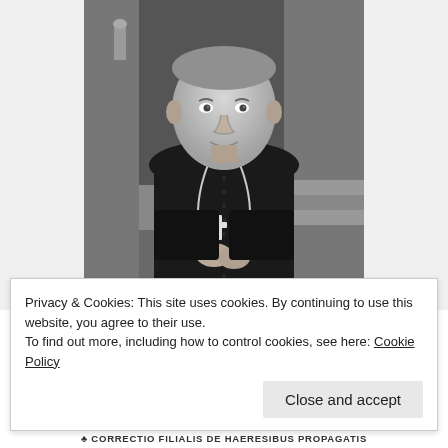[Figure (photo): Black and white photograph of a Catholic bishop or clergyman dressed in black clerical attire with a pectoral cross on a chain, standing and clasping his hands, with a slight smile, in front of a stone building entrance with steps visible.]
Privacy & Cookies: This site uses cookies. By continuing to use this website, you agree to their use.
To find out more, including how to control cookies, see here: Cookie Policy
Close and accept
♣ CORRECTIO FILIALIS DE HAERESIBUS PROPAGATIS